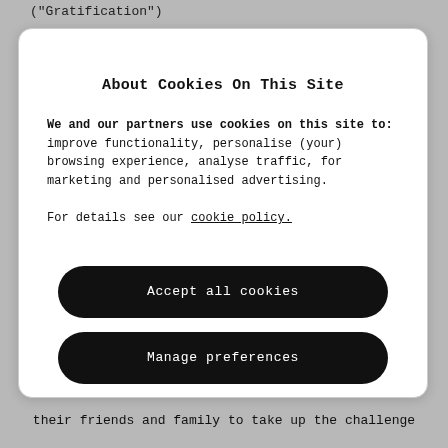("Gratification")
About Cookies On This Site
We and our partners use cookies on this site to: improve functionality, personalise (your) browsing experience, analyse traffic, for marketing and personalised advertising.

For details see our cookie policy.
Accept all cookies
Manage preferences
their friends and family to take up the challenge